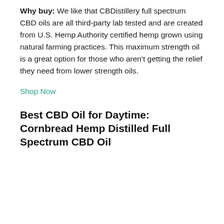Why buy: We like that CBDistillery full spectrum CBD oils are all third-party lab tested and are created from U.S. Hemp Authority certified hemp grown using natural farming practices. This maximum strength oil is a great option for those who aren't getting the relief they need from lower strength oils.
Shop Now
Best CBD Oil for Daytime: Cornbread Hemp Distilled Full Spectrum CBD Oil